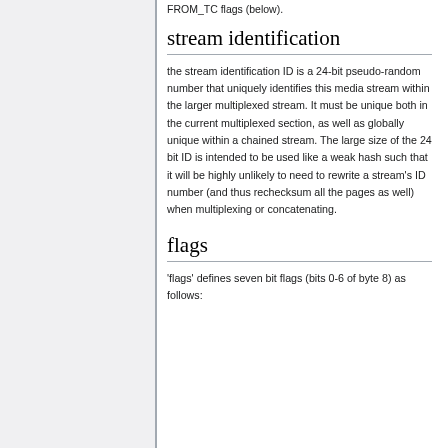FROM_TC flags (below).
stream identification
the stream identification ID is a 24-bit pseudo-random number that uniquely identifies this media stream within the larger multiplexed stream. It must be unique both in the current multiplexed section, as well as globally unique within a chained stream. The large size of the 24 bit ID is intended to be used like a weak hash such that it will be highly unlikely to need to rewrite a stream's ID number (and thus rechecksum all the pages as well) when multiplexing or concatenating.
flags
'flags' defines seven bit flags (bits 0-6 of byte 8) as follows: